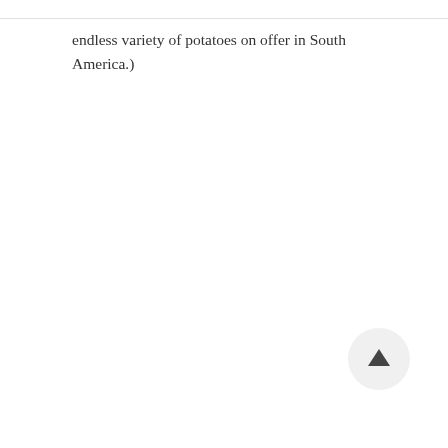endless variety of potatoes on offer in South America.)
[Figure (other): Scroll-to-top button: a circular light gray button with an upward-pointing arrow icon, positioned in the bottom-right area of the page.]